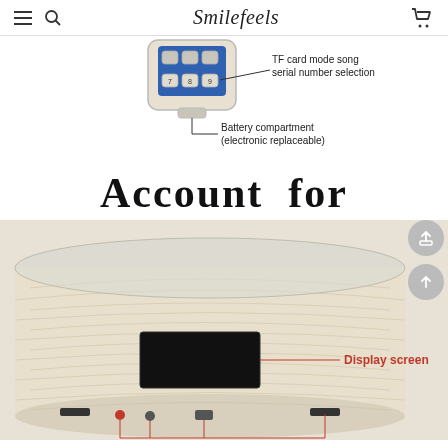Smilefeels
[Figure (engineering-diagram): Remote control or keypad diagram showing numbered buttons (7,8,9) with callout line pointing to 'TF card mode song serial number selection' label on the right, and a callout line below pointing to 'Battery compartment (electronic replaceable)']
Account for
[Figure (photo): Photo of a round wood-grain textured Bluetooth speaker showing the back/front panel with a black display screen in the center, labeled 'Display screen' with red callout line, and red callout lines at the bottom pointing to various ports and connectors]